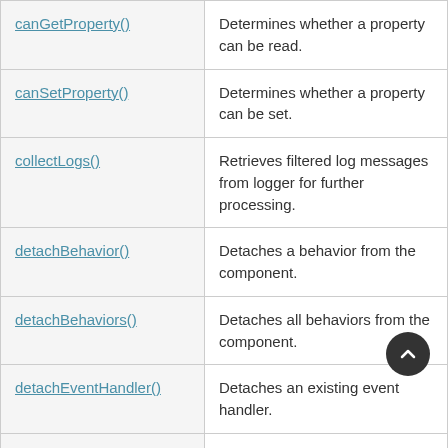| Method | Description |
| --- | --- |
| canGetProperty() | Determines whether a property can be read. |
| canSetProperty() | Determines whether a property can be set. |
| collectLogs() | Retrieves filtered log messages from logger for further processing. |
| detachBehavior() | Detaches a behavior from the component. |
| detachBehaviors() | Detaches all behaviors from the component. |
| detachEventHandler() | Detaches an existing event handler. |
| disableBehavior() | Disables an attached behavior. |
| disableBehaviors() | Disables all behaviors attached to this component. |